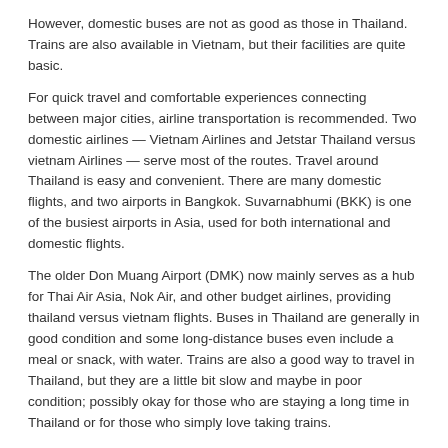However, domestic buses are not as good as those in Thailand. Trains are also available in Vietnam, but their facilities are quite basic.
For quick travel and comfortable experiences connecting between major cities, airline transportation is recommended. Two domestic airlines — Vietnam Airlines and Jetstar Thailand versus vietnam Airlines — serve most of the routes. Travel around Thailand is easy and convenient. There are many domestic flights, and two airports in Bangkok. Suvarnabhumi (BKK) is one of the busiest airports in Asia, used for both international and domestic flights.
The older Don Muang Airport (DMK) now mainly serves as a hub for Thai Air Asia, Nok Air, and other budget airlines, providing thailand versus vietnam flights. Buses in Thailand are generally in good condition and some long-distance buses even include a meal or snack, with water. Trains are also a good way to travel in Thailand, but they are a little bit slow and maybe in poor condition; possibly okay for those who are staying a long time in Thailand or for those who simply love taking trains.
Visas – Thailand provides easier and faster access There are three ways of obtaining a visa for Vietnam — via a Vietnamese Embassy or Consulate, an E-Visa, or a Visa on Arrival. The E-visa is a pilot electronic visa system launched on 1st February 2017: visitors can apply for a 1-month single-entry visa by paying USD 25 via the official immigration platform. Thailand is much more convenient with respect to visas.
Passport holders from 57 countries, including the citizens of most European countries, Australia, and the US, can enter Thailand for up to 30 days without acquiring a visa beforehand. Click here to see the ourist visa exemption scheme and how to apply for a Thailand visa.T Language – English is used more commonly in Thailand Vietnamese people engaged in tourism can speak English, but it is not as popular on the streets as in Thailand.
In Thailand, English is more common, and many people in the cities can